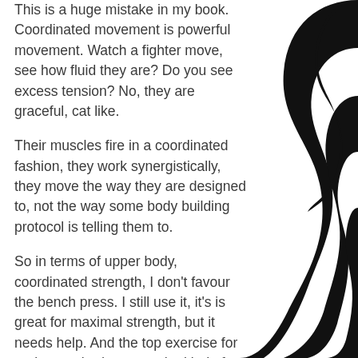This is a huge mistake in my book. Coordinated movement is powerful movement. Watch a fighter move, see how fluid they are? Do you see excess tension? No, they are graceful, cat like.

Their muscles fire in a coordinated fashion, they work synergistically, they move the way they are designed to, not the way some body building protocol is telling them to.
So in terms of upper body, coordinated strength, I don't favour the bench press. I still use it, it's is great for maximal strength, but it needs help. And the top exercise for real upper body power, the kind of power that travels from the feet, via a strong and tight core into a powerful shoulder, well that is the One
[Figure (illustration): Black and white silhouette illustration of a human figure, showing curved body forms suggesting motion or musculature, on the right side of the page]